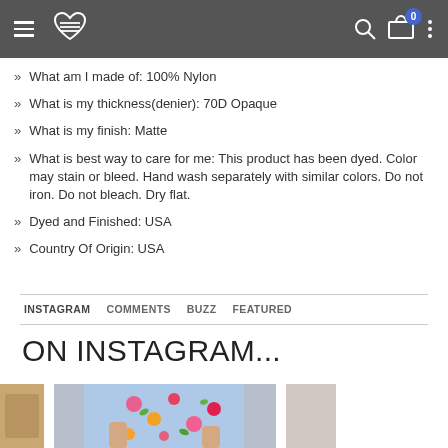Navigation header with hamburger menu, logo, search, cart (0), and more options
What am I made of: 100% Nylon
What is my thickness(denier): 70D Opaque
What is my finish: Matte
What is best way to care for me: This product has been dyed. Color may stain or bleed. Hand wash separately with similar colors. Do not iron. Do not bleach. Dry flat.
Dyed and Finished: USA
Country Of Origin: USA
INSTAGRAM   COMMENTS   BUZZ   FEATURED
ON INSTAGRAM...
[Figure (photo): Instagram photos row showing fashion/clothing images]